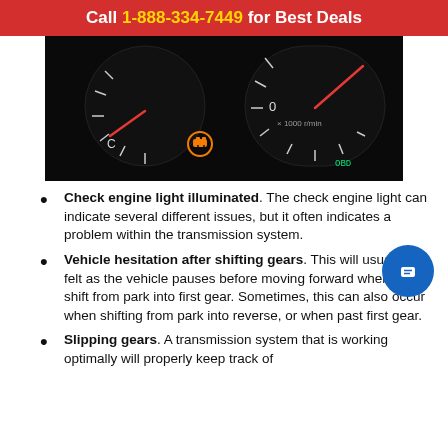Call 1-888-334-7449 for Best Deals
[Figure (photo): Close-up of a car dashboard showing gauges and an illuminated check engine light (orange icon) against a dark background.]
Check engine light illuminated. The check engine light can indicate several different issues, but it often indicates a problem within the transmission system.
Vehicle hesitation after shifting gears. This will usually be felt as the vehicle pauses before moving forward when you shift from park into first gear. Sometimes, this can also occur when shifting from park into reverse, or when past first gear.
Slipping gears. A transmission system that is working optimally will properly keep track of